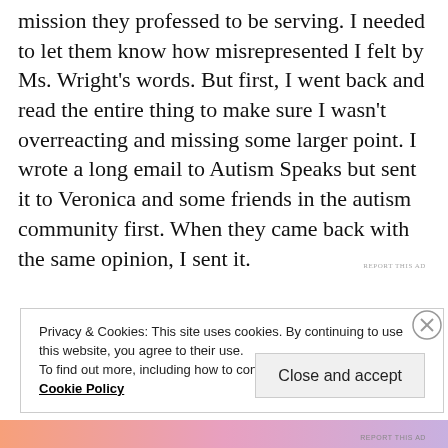mission they professed to be serving. I needed to let them know how misrepresented I felt by Ms. Wright's words. But first, I went back and read the entire thing to make sure I wasn't overreacting and missing some larger point. I wrote a long email to Autism Speaks but sent it to Veronica and some friends in the autism community first. When they came back with the same opinion, I sent it.
REPORT THIS AD
Privacy & Cookies: This site uses cookies. By continuing to use this website, you agree to their use. To find out more, including how to control cookies, see here: Cookie Policy
Close and accept